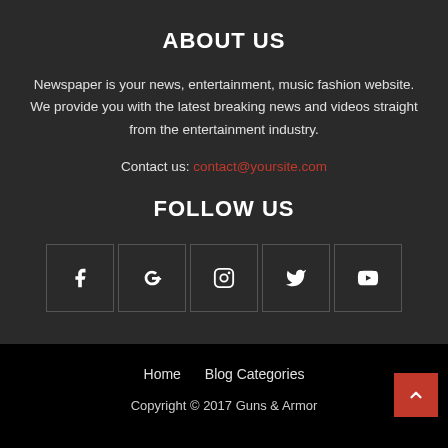ABOUT US
Newspaper is your news, entertainment, music fashion website. We provide you with the latest breaking news and videos straight from the entertainment industry.
Contact us: contact@yoursite.com
FOLLOW US
[Figure (other): Row of 5 social media icon buttons: Facebook, Google+, Instagram, Twitter, YouTube]
Home   Blog Categories
Copyright © 2017 Guns & Armor